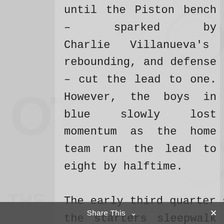until the Piston bench – sparked by Charlie Villanueva's shooting, rebounding, and defense – cut the lead to one. However, the boys in blue slowly lost momentum as the home team ran the lead to eight by halftime.

The early third quarter saw the starters sleepwalk their way to a 14-point deficit, at which coach John Kuester...
Share This ∨  ✕